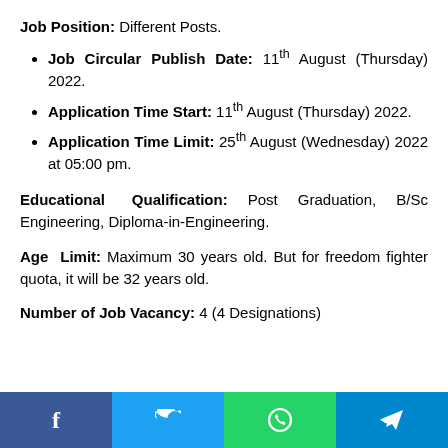Job Position: Different Posts.
Job Circular Publish Date: 11th August (Thursday) 2022.
Application Time Start: 11th August (Thursday) 2022.
Application Time Limit: 25th August (Wednesday) 2022 at 05:00 pm.
Educational Qualification: Post Graduation, B/Sc Engineering, Diploma-in-Engineering.
Age Limit: Maximum 30 years old. But for freedom fighter quota, it will be 32 years old.
Number of Job Vacancy: 4 (4 Designations)